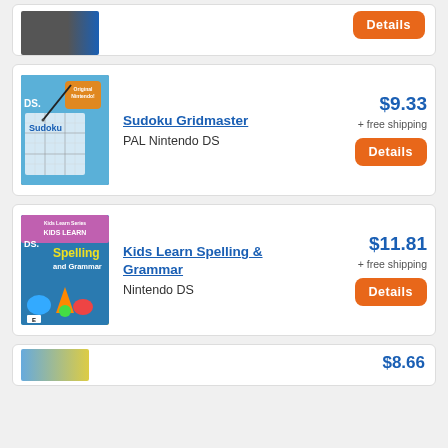[Figure (photo): Partial listing card showing a game image on the left and an orange Details button on the right, cropped at top]
[Figure (photo): Sudoku Gridmaster Nintendo DS game box art - blue and orange Sudoku grid design]
Sudoku Gridmaster
PAL Nintendo DS
$9.33
+ free shipping
[Figure (photo): Kids Learn Spelling & Grammar Nintendo DS game box art - colorful with kids characters]
Kids Learn Spelling & Grammar
Nintendo DS
$11.81
+ free shipping
$8.66